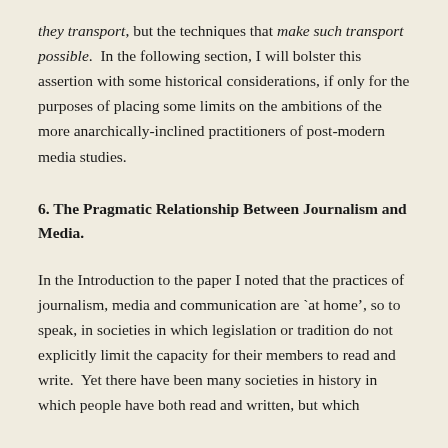they transport, but the techniques that make such transport possible.  In the following section, I will bolster this assertion with some historical considerations, if only for the purposes of placing some limits on the ambitions of the more anarchically-inclined practitioners of post-modern media studies.
6. The Pragmatic Relationship Between Journalism and Media.
In the Introduction to the paper I noted that the practices of journalism, media and communication are `at home', so to speak, in societies in which legislation or tradition do not explicitly limit the capacity for their members to read and write.  Yet there have been many societies in history in which people have both read and written, but which